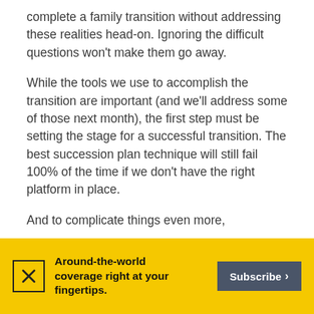complete a family transition without addressing these realities head-on. Ignoring the difficult questions won't make them go away.
While the tools we use to accomplish the transition are important (and we'll address some of those next month), the first step must be setting the stage for a successful transition. The best succession plan technique will still fail 100% of the time if we don't have the right platform in place.
And to complicate things even more,
[Figure (infographic): Yellow advertisement banner with X icon, bold text 'Around-the-world coverage right at your fingertips.' and a dark grey Subscribe button with arrow]